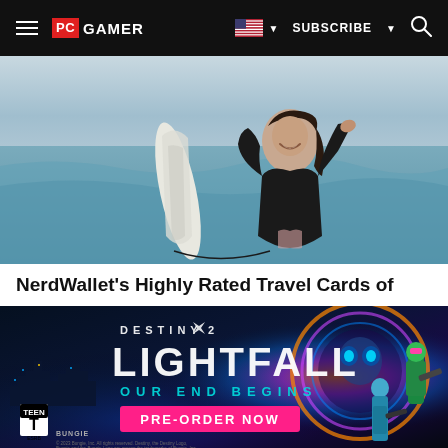PC GAMER | SUBSCRIBE
[Figure (photo): Woman in black wetsuit holding a white surfboard at the beach, smiling and laughing]
NerdWallet's Highly Rated Travel Cards of
[Figure (photo): Destiny 2 Lightfall game advertisement with text 'OUR END BEGINS' and 'PRE-ORDER NOW' button, TEEN ESRB rating, Bungie logo]